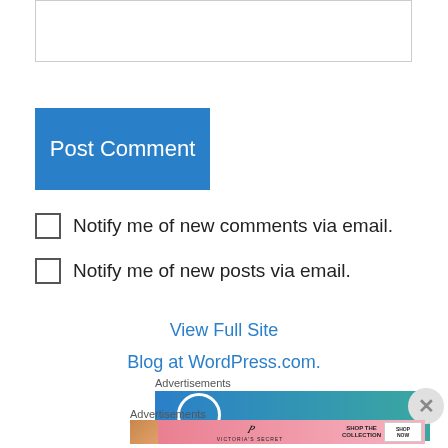[textarea box]
Post Comment
Notify me of new comments via email.
Notify me of new posts via email.
View Full Site
Blog at WordPress.com.
Advertisements
[Figure (other): Advertisement banner with blue-to-teal gradient and a white circle outline]
Advertisements
[Figure (other): Victoria's Secret advertisement with model, pink gradient, SHOP THE COLLECTION text, and SHOP NOW button]